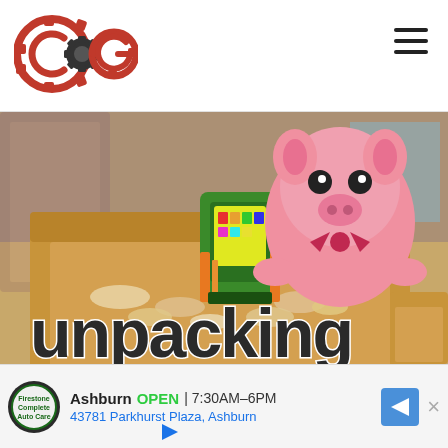[Figure (logo): COG (Cultured Vultures / Gaming) logo — two interlocking gears with letters C, G, in dark red on white background]
[Figure (illustration): Game key art for 'Unpacking' — cartoon-style illustration showing a pink pig stuffed animal and a green game cartridge in a cardboard box filled with packing paper. Large text 'unpacking' in bold rounded font at the bottom.]
[Figure (infographic): Advertisement banner for Firestone Auto Care in Ashburn. Shows: logo circle, 'Ashburn OPEN 7:30AM-6PM', address '43781 Parkhurst Plaza, Ashburn', blue arrow icon, X close button, and a play/ad icon.]